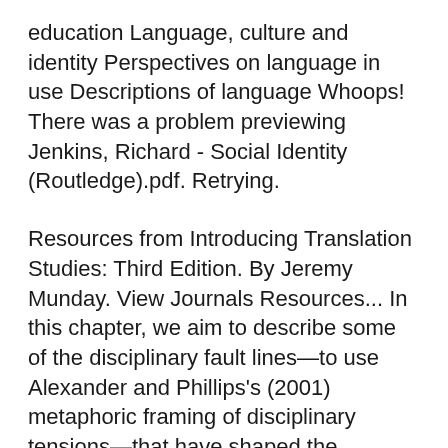education Language, culture and identity Perspectives on language in use Descriptions of language Whoops! There was a problem previewing Jenkins, Richard - Social Identity (Routledge).pdf. Retrying.
Resources from Introducing Translation Studies: Third Edition. By Jeremy Munday. View Journals Resources... In this chapter, we aim to describe some of the disciplinary fault lines—to use Alexander and Phillips's (2001) metaphoric framing of disciplinary tensions—that have shaped the intellectual contours of CCT, profile the primary theoretical motifs that